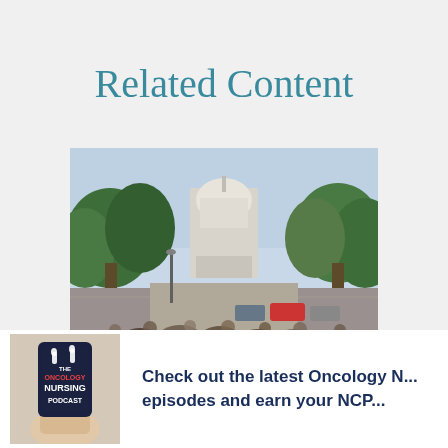Related Content
[Figure (photo): Street scene in Washington DC with the US Capitol building visible in the background, tree-lined boulevard with pedestrians and traffic]
[Figure (photo): Hand holding a smartphone displaying The Oncology Nursing Podcast app logo with text: Check out the latest Oncology N... episodes and earn your NCP...]